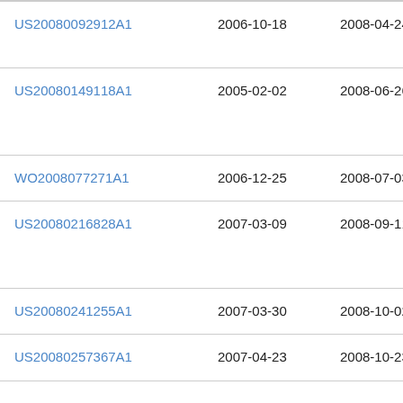| US20080092912A1 | 2006-10-18 | 2008-04-24 | R...
Tob |
| US20080149118A1 | 2005-02-02 | 2008-06-26 | Ogl
Res
Dev |
| WO2008077271A1 | 2006-12-25 | 2008-07-03 | Ben |
| US20080216828A1 | 2007-03-09 | 2008-09-11 | Ale
Pha
Inc |
| US20080241255A1 | 2007-03-30 | 2008-10-02 | Dul |
| US20080257367A1 | 2007-04-23 | 2008-10-23 | Gre |